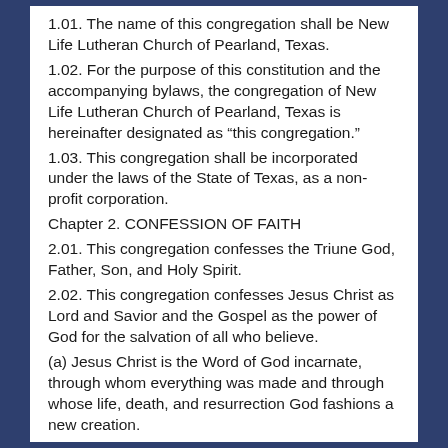1.01. The name of this congregation shall be New Life Lutheran Church of Pearland, Texas.
1.02. For the purpose of this constitution and the accompanying bylaws, the congregation of New Life Lutheran Church of Pearland, Texas is hereinafter designated as “this congregation.”
1.03. This congregation shall be incorporated under the laws of the State of Texas, as a non-profit corporation.
Chapter 2. CONFESSION OF FAITH
2.01. This congregation confesses the Triune God, Father, Son, and Holy Spirit.
2.02. This congregation confesses Jesus Christ as Lord and Savior and the Gospel as the power of God for the salvation of all who believe.
(a) Jesus Christ is the Word of God incarnate, through whom everything was made and through whose life, death, and resurrection God fashions a new creation.